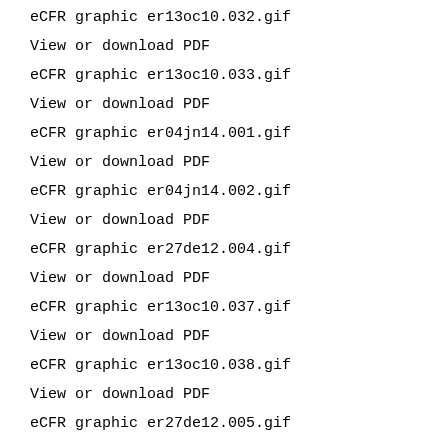eCFR graphic er13oc10.032.gif
View or download PDF
eCFR graphic er13oc10.033.gif
View or download PDF
eCFR graphic er04jn14.001.gif
View or download PDF
eCFR graphic er04jn14.002.gif
View or download PDF
eCFR graphic er27de12.004.gif
View or download PDF
eCFR graphic er13oc10.037.gif
View or download PDF
eCFR graphic er13oc10.038.gif
View or download PDF
eCFR graphic er27de12.005.gif